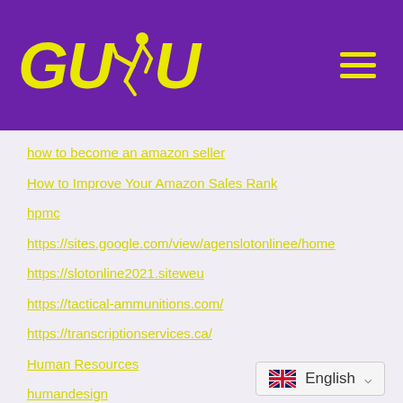[Figure (logo): GUDU logo with yellow text and runner icon on purple background, with hamburger menu icon]
how to become an amazon seller
How to Improve Your Amazon Sales Rank
hpmc
https://sites.google.com/view/agenslotonlinee/home
https://slotonline2021.siteweu
https://tactical-ammunitions.com/
https://transcriptionservices.ca/
Human Resources
humandesign
Humor
hunting
hybrid energy efficient
[Figure (screenshot): Language selector widget showing UK flag and English text with dropdown chevron]